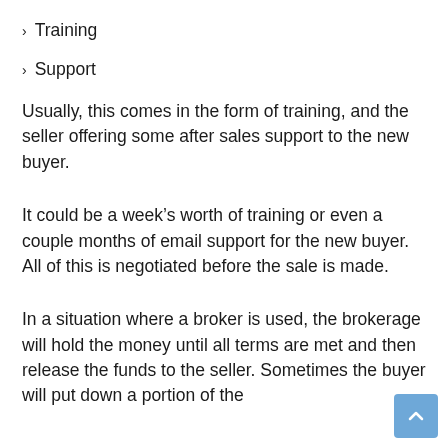Training
Support
Usually, this comes in the form of training, and the seller offering some after sales support to the new buyer.
It could be a week’s worth of training or even a couple months of email support for the new buyer. All of this is negotiated before the sale is made.
In a situation where a broker is used, the brokerage will hold the money until all terms are met and then release the funds to the seller. Sometimes the buyer will put down a portion of the